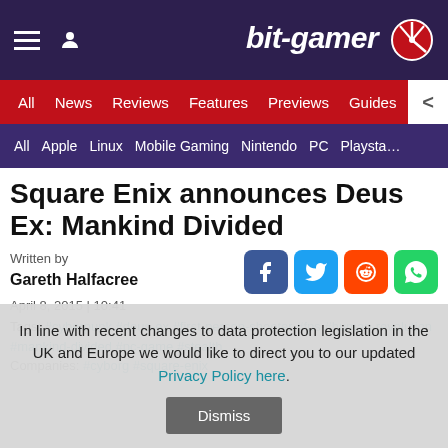bit-gamer
All | News | Reviews | Features | Previews | Guides | Blogs
All | Apple | Linux | Mobile Gaming | Nintendo | PC | Playsta…
Square Enix announces Deus Ex: Mankind Divided
Written by
Gareth Halfacree
April 8, 2015 | 10:41
Tags: #cyberpunk #deus-ex #first-person-shooter #fps #human-revolution #mankind-divided #pc-game #stealth
Companies: #cyborg #square-enix
In line with recent changes to data protection legislation in the UK and Europe we would like to direct you to our updated Privacy Policy here.